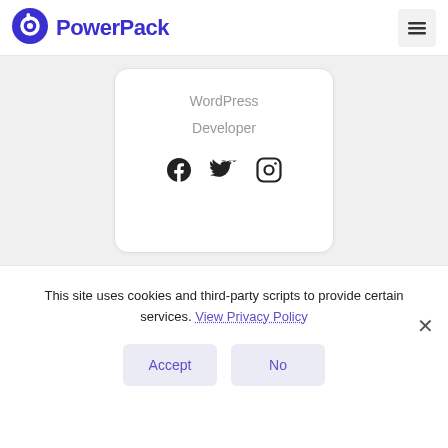PowerPack
[Figure (screenshot): Card widget showing WordPress Developer role with Facebook, Twitter, and Instagram social icons]
This site uses cookies and third-party scripts to provide certain services. View Privacy Policy
Accept
No